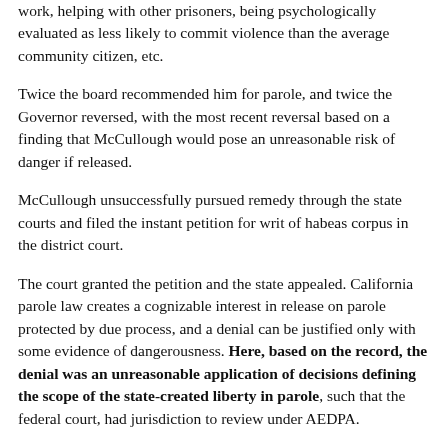work, helping with other prisoners, being psychologically evaluated as less likely to commit violence than the average community citizen, etc.
Twice the board recommended him for parole, and twice the Governor reversed, with the most recent reversal based on a finding that McCullough would pose an unreasonable risk of danger if released.
McCullough unsuccessfully pursued remedy through the state courts and filed the instant petition for writ of habeas corpus in the district court.
The court granted the petition and the state appealed. California parole law creates a cognizable interest in release on parole protected by due process, and a denial can be justified only with some evidence of dangerousness. Here, based on the record, the denial was an unreasonable application of decisions defining the scope of the state-created liberty in parole, such that the federal court, had jurisdiction to review under AEDPA.